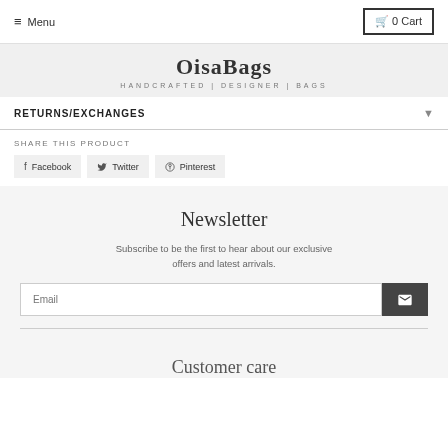Menu | 0 Cart
OisaBags — HANDCRAFTED | DESIGNER | BAGS
RETURNS/EXCHANGES
SHARE THIS PRODUCT
Facebook | Twitter | Pinterest
Newsletter
Subscribe to be the first to hear about our exclusive offers and latest arrivals.
Email [input field]
Customer care